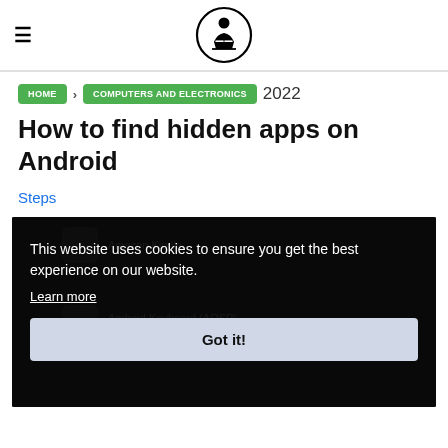WikiHow logo header with hamburger menu
HOME › COMPUTERS AND ELECTRONICS 2022
How to find hidden apps on Android
Steps
[Figure (screenshot): Screenshot of Android app list with cookie consent overlay. Cookie notice reads: 'This website uses cookies to ensure you get the best experience on our website. Learn more' with a 'Got it!' button. In background, Android Keyboard (AOSP) and Amazon Kindle app entries are partially visible.]